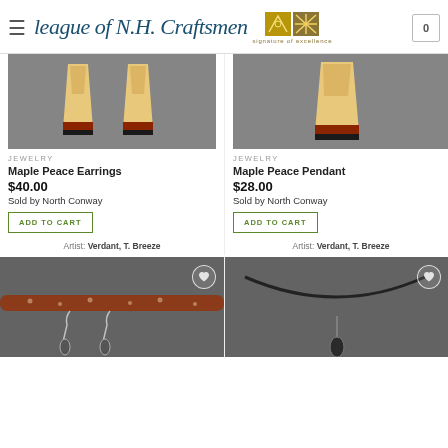League of N.H. Craftsmen — signature of excellence
[Figure (photo): Maple Peace Earrings – two wooden earrings with light maple and dark base on grey background]
JEWELRY
Maple Peace Earrings
$40.00
Sold by North Conway
ADD TO CART
Artist: Verdant, T. Breeze
[Figure (photo): Maple Peace Pendant – single wooden pendant with light maple and dark base on grey background]
JEWELRY
Maple Peace Pendant
$28.00
Sold by North Conway
ADD TO CART
Artist: Verdant, T. Breeze
[Figure (photo): Silver drop earrings hanging on a reddish wooden branch against grey background]
[Figure (photo): Necklace with dark pendant on cable wire against grey background]